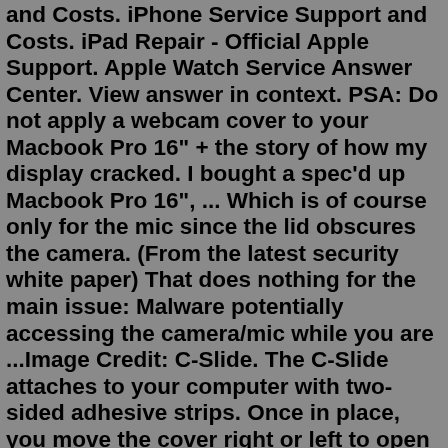and Costs. iPhone Service Support and Costs. iPad Repair - Official Apple Support. Apple Watch Service Answer Center. View answer in context. PSA: Do not apply a webcam cover to your Macbook Pro 16" + the story of how my display cracked. I bought a spec'd up Macbook Pro 16", ... Which is of course only for the mic since the lid obscures the camera. (From the latest security white paper) That does nothing for the main issue: Malware potentially accessing the camera/mic while you are ...Image Credit: C-Slide. The C-Slide attaches to your computer with two-sided adhesive strips. Once in place, you move the cover right or left to open and close it. It measures about 6 inches by 3.3 inches and is only 0.1 inches thick. That's thin enough so that you can close almost any laptop with the C-Slide still in place It costs $15 for a ... The Eyebloc Webcam for MacBook is a magnetic webcam cover designed to allow your computer to completely close. The patented webcam cover for MacBook is the thinnest webcam cover on the market and works directly with the internal magnets in your